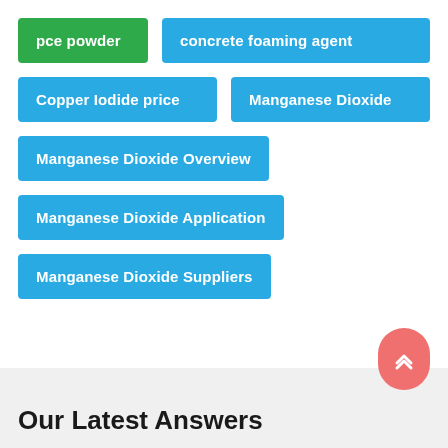pce powder
concrete foaming agent
Copper Iodide price
Manganese Dioxide
Manganese Dioxide Overview
Manganese Dioxide Application
Manganese Dioxide Suppliers
Our Latest Answers